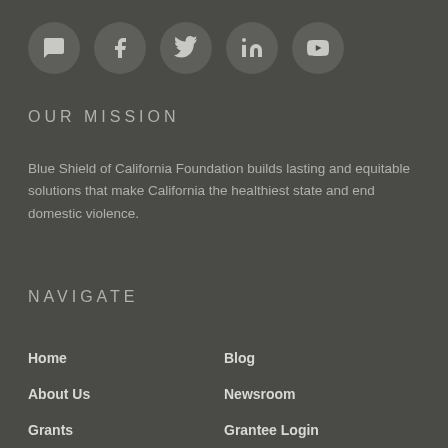[Figure (other): Five circular social media icon buttons (chat/comment, Facebook, Twitter, LinkedIn, YouTube) in dark gray circles on a dark background]
OUR MISSION
Blue Shield of California Foundation builds lasting and equitable solutions that make California the healthiest state and end domestic violence.
NAVIGATE
Home
Blog
About Us
Newsroom
Grants
Grantee Login
Resources
Contact Us